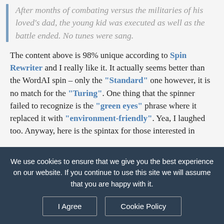After months of combating versus the militaries of his loved's dad, the young kid was executed as well as the battle ended. No tunes were sang.
The content above is 98% unique according to Spin Rewriter and I really like it. It actually seems better than the WordAI spin – only the "Standard" one however, it is no match for the "Turing". One thing that the spinner failed to recognize is the "green eyes" phrase where it replaced it with "environment-friendly". Yea, I laughed too. Anyway, here is the spintax for those interested in
We use cookies to ensure that we give you the best experience on our website. If you continue to use this site we will assume that you are happy with it.